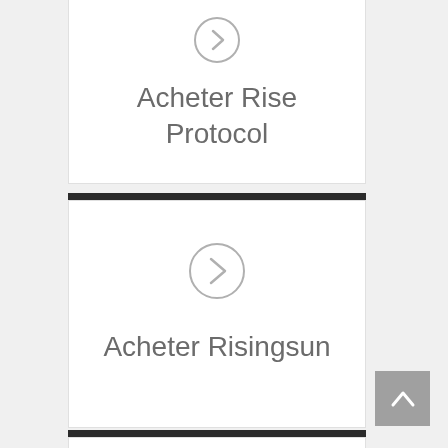Acheter Rise Protocol
Acheter Risingsun